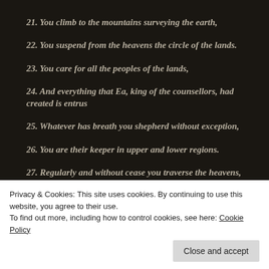21. You climb to the mountains surveying the earth,
22. You suspend from the heavens the circle of the lands.
23. You care for all the peoples of the lands,
24. And everything that Ea, king of the counsellors, had created is entrus
25. Whatever has breath you shepherd without exception,
26. You are their keeper in upper and lower regions.
27. Regularly and without cease you traverse the heavens,
Privacy & Cookies: This site uses cookies. By continuing to use this website, you agree to their use. To find out more, including how to control cookies, see here: Cookie Policy